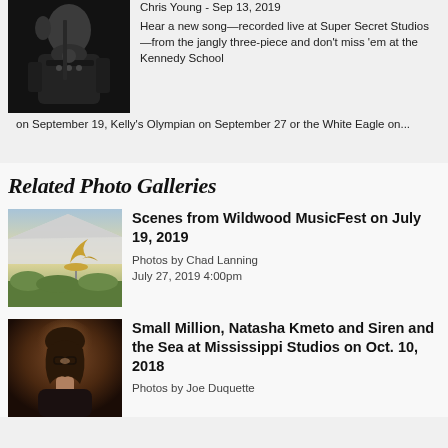[Figure (photo): Black and white photo of a musician playing guitar]
Chris Young - Sep 13, 2019
Hear a new song—recorded live at Super Secret Studios—from the jangly three-piece and don't miss 'em at the Kennedy School on September 19, Kelly's Olympian on September 27 or the White Eagle on...
Related Photo Galleries
[Figure (photo): Outdoor photo of a golden metal bird sculpture with festival tent in background at Wildwood MusicFest]
Scenes from Wildwood MusicFest on July 19, 2019
Photos by Chad Lanning
July 27, 2019 4:00pm
[Figure (photo): Portrait photo of a woman with glasses looking upward, dark moody background]
Small Million, Natasha Kmeto and Siren and the Sea at Mississippi Studios on Oct. 10, 2018
Photos by Joe Duquette